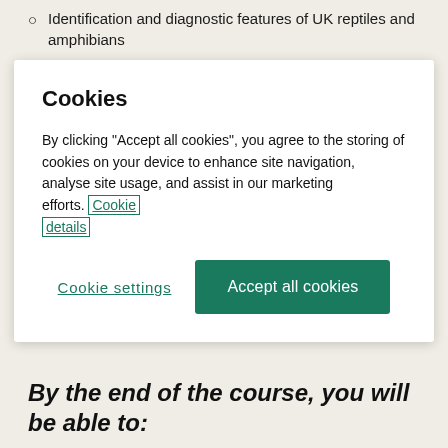Identification and diagnostic features of UK reptiles and amphibians
Cookies

By clicking “Accept all cookies”, you agree to the storing of cookies on your device to enhance site navigation, analyse site usage, and assist in our marketing efforts. Cookie details
How understanding the behaviour and ecology of these species can help in field location and identification
By the end of the course, you will be able to: